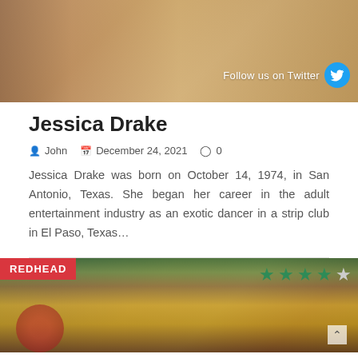[Figure (photo): Top photo banner showing a person in warm tones with a Twitter follow badge overlay in the bottom right]
Jessica Drake
& John  December 24, 2021  0
Jessica Drake was born on October 14, 1974, in San Antonio, Texas. She began her career in the adult entertainment industry as an exotic dancer in a strip club in El Paso, Texas…
[Figure (photo): Bottom card image with REDHEAD badge, star rating (3.5 out of 5 stars in green), and a photo of flowers/Christmas decoration]